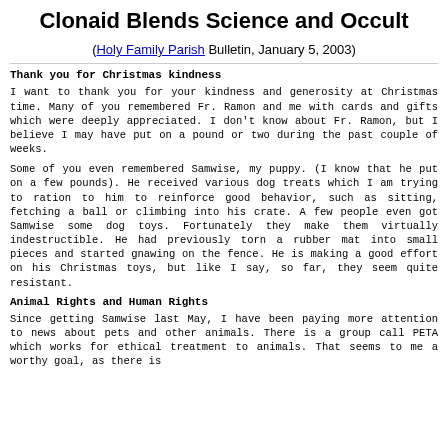Clonaid Blends Science and Occult
(Holy Family Parish Bulletin, January 5, 2003)
Thank you for Christmas kindness
I want to thank you for your kindness and generosity at Christmas time. Many of you remembered Fr. Ramon and me with cards and gifts which were deeply appreciated. I don't know about Fr. Ramon, but I believe I may have put on a pound or two during the past couple of weeks.
Some of you even remembered Samwise, my puppy. (I know that he put on a few pounds). He received various dog treats which I am trying to ration to him to reinforce good behavior, such as sitting, fetching a ball or climbing into his crate. A few people even got Samwise some dog toys. Fortunately they make them virtually indestructible. He had previously torn a rubber mat into small pieces and started gnawing on the fence. He is making a good effort on his Christmas toys, but like I say, so far, they seem quite resistant.
Animal Rights and Human Rights
Since getting Samwise last May, I have been paying more attention to news about pets and other animals. There is a group call PETA which works for ethical treatment to animals. That seems to me a worthy goal, as there is